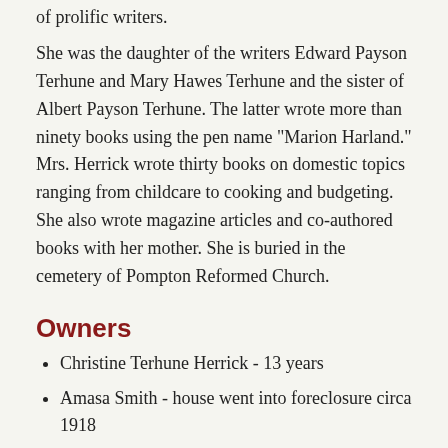of prolific writers.
She was the daughter of the writers Edward Payson Terhune and Mary Hawes Terhune and the sister of Albert Payson Terhune. The latter wrote more than ninety books using the pen name "Marion Harland." Mrs. Herrick wrote thirty books on domestic topics ranging from childcare to cooking and budgeting. She also wrote magazine articles and co-authored books with her mother. She is buried in the cemetery of Pompton Reformed Church.
Owners
Christine Terhune Herrick - 13 years
Amasa Smith - house went into foreclosure circa 1918
Winter family - 45 years
Eldau Realty bought the property in 1963 and subdivided the original 3 - 4 acres leaving the house with 2/3 of an acre. At this time, due to the subdivision the address of the house changed from 304 Pompton Avenue to 233 Bartholf Avenue.